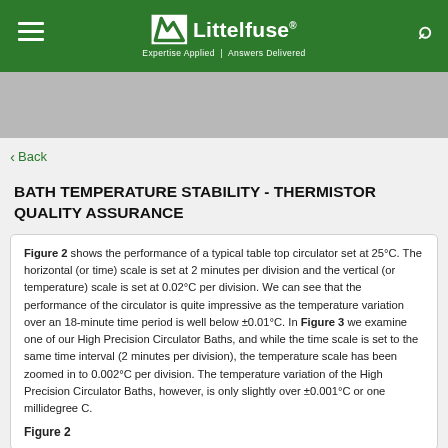Littelfuse — Expertise Applied | Answers Delivered
[Figure (other): Gray banner image placeholder below header]
< Back
BATH TEMPERATURE STABILITY - THERMISTOR QUALITY ASSURANCE
Figure 2 shows the performance of a typical table top circulator set at 25°C. The horizontal (or time) scale is set at 2 minutes per division and the vertical (or temperature) scale is set at 0.02°C per division. We can see that the performance of the circulator is quite impressive as the temperature variation over an 18-minute time period is well below ±0.01°C. In Figure 3 we examine one of our High Precision Circulator Baths, and while the time scale is set to the same time interval (2 minutes per division), the temperature scale has been zoomed in to 0.002°C per division. The temperature variation of the High Precision Circulator Baths, however, is only slightly over ±0.001°C or one millidegree C.
Figure 2